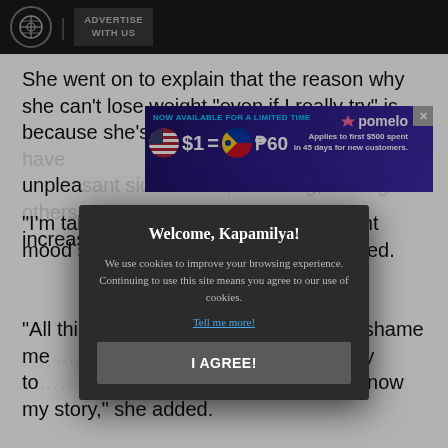ABS-CBN | ADVERTISE WITH US
She went on to explain that the reason why she can't lose weight "even if I really try" is because she's taking antidepressants, which have unpleasant side effects, including, among others, increased appetite and weight gain.
[Figure (screenshot): Advertisement banner: NOW AVAILABLE FOR A LIMITED TIME. $1 = P60. Applies to first $500 spent in 45 days for new customers. Pomelo logo.]
"I'm taking 2 different mood stabilizers," she shared.
"All this is being said to those who body shame me and to those people who are nasty to me, but you don't know my story," she added.
[Figure (screenshot): Cookie consent modal: Welcome, Kapamilya! We use cookies to improve your browsing experience. Continuing to use this site means you agree to our use of cookies. Tell me more! | I AGREE! button]